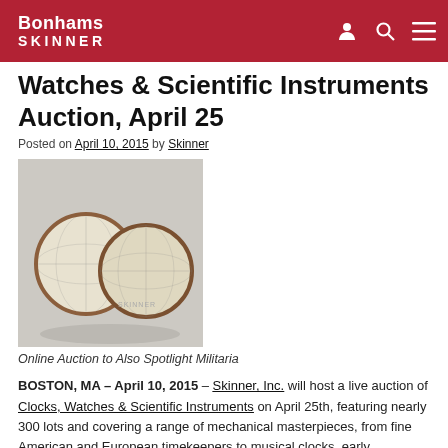Bonhams SKINNER
Watches & Scientific Instruments Auction, April 25
Posted on April 10, 2015 by Skinner
[Figure (photo): Two halves of a small spherical globe with engraved cartographic surface, displayed open on a grey background. SKINNER watermark visible.]
Online Auction to Also Spotlight Militaria
BOSTON, MA – April 10, 2015 – Skinner, Inc. will host a live auction of Clocks, Watches & Scientific Instruments on April 25th, featuring nearly 300 lots and covering a range of mechanical masterpieces, from fine American and European timekeepers to musical clocks, early navigational instruments, intriguing automata and more. Collectors can